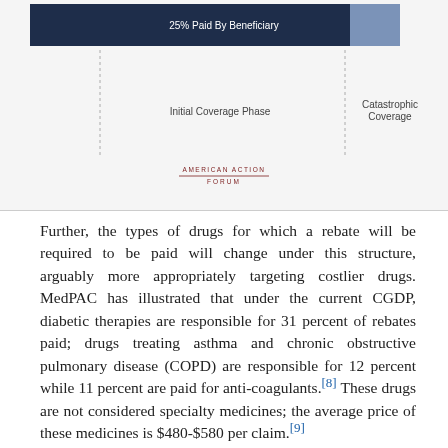[Figure (infographic): Partial view of a Medicare Part D coverage phases diagram showing '25% Paid By Beneficiary' label in a dark navy bar, with 'Initial Coverage Phase' and 'Catastrophic Coverage' phase labels, and an American Action Forum logo at the bottom.]
Further, the types of drugs for which a rebate will be required to be paid will change under this structure, arguably more appropriately targeting costlier drugs. MedPAC has illustrated that under the current CGDP, diabetic therapies are responsible for 31 percent of rebates paid; drugs treating asthma and chronic obstructive pulmonary disease (COPD) are responsible for 12 percent while 11 percent are paid for anti-coagulants.[8] These drugs are not considered specialty medicines; the average price of these medicines is $480-$580 per claim.[9]